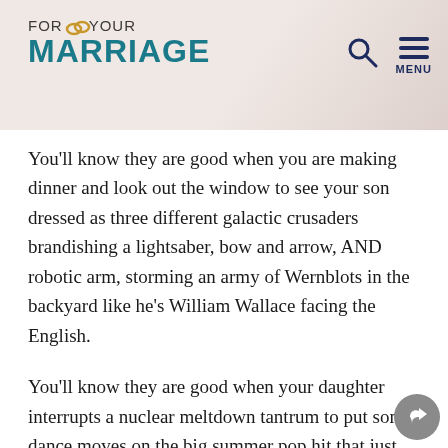FOR YOUR MARRIAGE
You'll know they are good when you are making dinner and look out the window to see your son dressed as three different galactic crusaders brandishing a lightsaber, bow and arrow, AND robotic arm, storming an army of Wernblots in the backyard like he's William Wallace facing the English.
You'll know they are good when your daughter interrupts a nuclear meltdown tantrum to put some dance moves on the big summer pop hit that just came on the radio. She has her principles, but, by God, she won't let this song go by without some boogie.